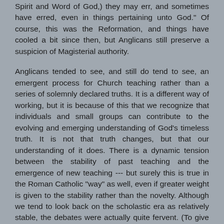Spirit and Word of God,) they may err, and sometimes have erred, even in things pertaining unto God." Of course, this was the Reformation, and things have cooled a bit since then, but Anglicans still preserve a suspicion of Magisterial authority.
Anglicans tended to see, and still do tend to see, an emergent process for Church teaching rather than a series of solemnly declared truths. It is a different way of working, but it is because of this that we recognize that individuals and small groups can contribute to the evolving and emerging understanding of God's timeless truth. It is not that truth changes, but that our understanding of it does. There is a dynamic tension between the stability of past teaching and the emergence of new teaching --- but surely this is true in the Roman Catholic "way" as well, even if greater weight is given to the stability rather than the novelty. Although we tend to look back on the scholastic era as relatively stable, the debates were actually quite fervent. (To give one practical example: the settled doctrine of matrimony emerged out of the tension between those who regarded consent to be the primary cause, and those who thought it was physical congress.) And, as I recall, even the